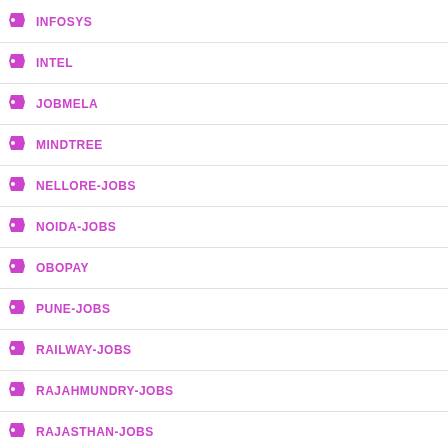INFOSYS
INTEL
JOBMELA
MINDTREE
NELLORE-JOBS
NOIDA-JOBS
OBOPAY
PUNE-JOBS
RAILWAY-JOBS
RAJAHMUNDRY-JOBS
RAJASTHAN-JOBS
RELIANCE-JIO
SRIKAKULAM-JOBS